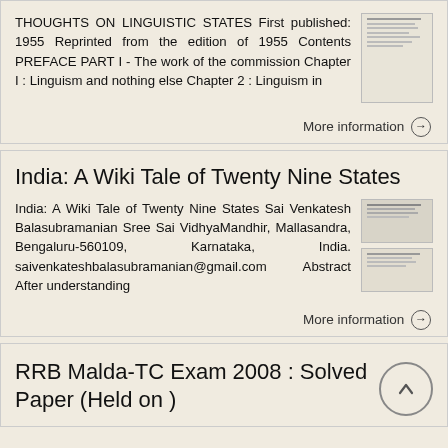THOUGHTS ON LINGUISTIC STATES First published: 1955 Reprinted from the edition of 1955 Contents PREFACE PART I - The work of the commission Chapter I : Linguism and nothing else Chapter 2 : Linguism in
More information →
India: A Wiki Tale of Twenty Nine States
India: A Wiki Tale of Twenty Nine States Sai Venkatesh Balasubramanian Sree Sai VidhyaMandhir, Mallasandra, Bengaluru-560109, Karnataka, India. saivenkateshbalasubramanian@gmail.com Abstract After understanding
More information →
RRB Malda-TC Exam 2008 : Solved Paper (Held on )